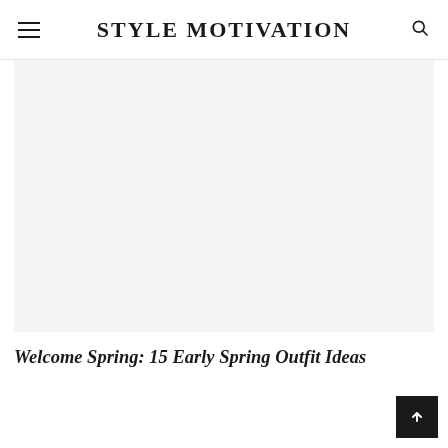STYLE MOTIVATION
[Figure (photo): Large image placeholder area — blank white/light gray rectangle representing a fashion/style photo]
Welcome Spring: 15 Early Spring Outfit Ideas
↑ back to top button